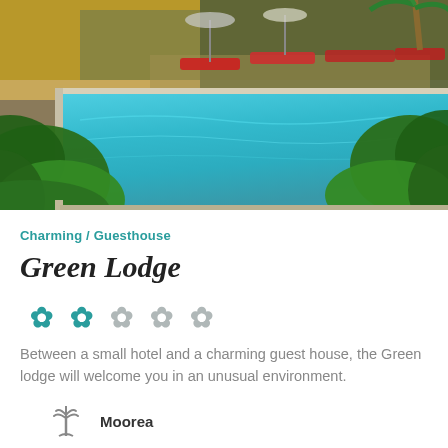[Figure (photo): Outdoor swimming pool surrounded by tropical green plants and lounge chairs, warm sunny setting]
Charming / Guesthouse
Green Lodge
[Figure (other): Five star rating icons: 2 teal/colored stars and 3 gray stars]
Between a small hotel and a charming guest house, the Green lodge will welcome you in an unusual environment.
Moorea
Beach
6 Room(s)